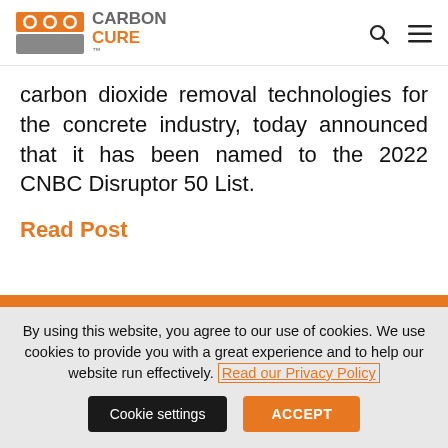CarbonCure
carbon dioxide removal technologies for the concrete industry, today announced that it has been named to the 2022 CNBC Disruptor 50 List.
Read Post
By using this website, you agree to our use of cookies. We use cookies to provide you with a great experience and to help our website run effectively. Read our Privacy Policy
Cookie settings
ACCEPT